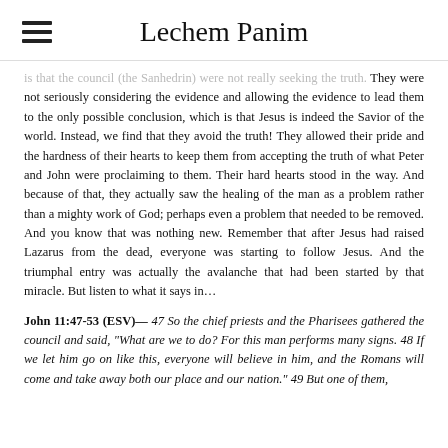Lechem Panim
is that the council (the Sanhedrin) were not really seeking the truth. They were not seriously considering the evidence and allowing the evidence to lead them to the only possible conclusion, which is that Jesus is indeed the Savior of the world. Instead, we find that they avoid the truth! They allowed their pride and the hardness of their hearts to keep them from accepting the truth of what Peter and John were proclaiming to them. Their hard hearts stood in the way. And because of that, they actually saw the healing of the man as a problem rather than a mighty work of God; perhaps even a problem that needed to be removed. And you know that was nothing new. Remember that after Jesus had raised Lazarus from the dead, everyone was starting to follow Jesus. And the triumphal entry was actually the avalanche that had been started by that miracle. But listen to what it says in…
John 11:47-53 (ESV)— 47 So the chief priests and the Pharisees gathered the council and said, "What are we to do? For this man performs many signs. 48 If we let him go on like this, everyone will believe in him, and the Romans will come and take away both our place and our nation." 49 But one of them,